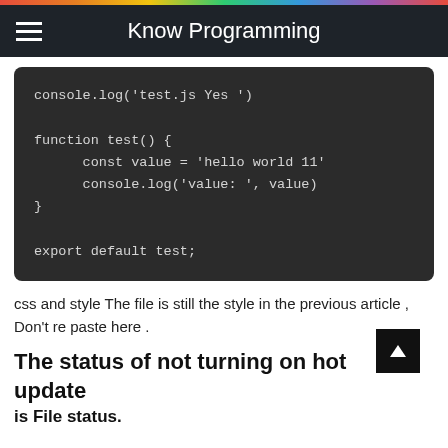Know Programming
[Figure (screenshot): Dark code block showing JavaScript code: console.log('test.js Yes '), function test() { const value = 'hello world 11', console.log('value: ', value) }, export default test;]
css and style The file is still the style in the previous article , Don't re paste here .
The status of not turning on hot update
is File status.